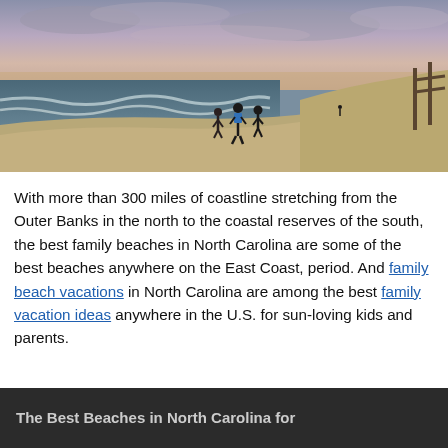[Figure (photo): Beach scene at dusk with three people walking along the shoreline. Ocean waves to the left, sandy beach with dunes and a wooden structure to the right, cloudy pastel sky overhead.]
With more than 300 miles of coastline stretching from the Outer Banks in the north to the coastal reserves of the south, the best family beaches in North Carolina are some of the best beaches anywhere on the East Coast, period. And family beach vacations in North Carolina are among the best family vacation ideas anywhere in the U.S. for sun-loving kids and parents.
The Best Beaches in North Carolina for